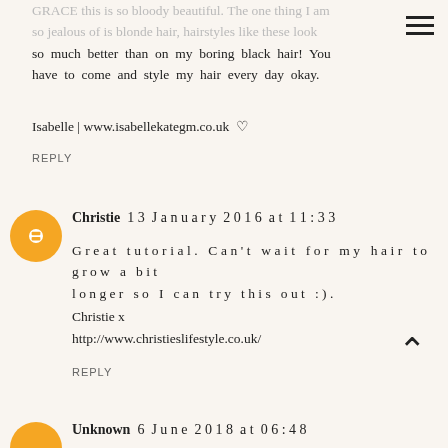GRACE this is so bloody beautiful. The one thing I am so jealous of is blonde hair, hairstyles like these look so much better than on my boring black hair! You have to come and style my hair every day okay.
Isabelle | www.isabellekategm.co.uk ♡
REPLY
Christie 13 January 2016 at 11:33
Great tutorial. Can't wait for my hair to grow a bit longer so I can try this out :).
Christie x
http://www.christieslifestyle.co.uk/
REPLY
Unknown 6 June 2018 at 06:48